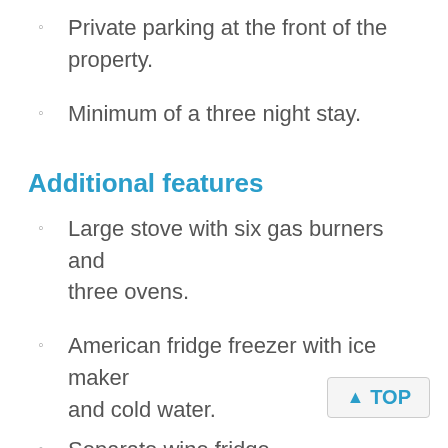Private parking at the front of the property.
Minimum of a three night stay.
Additional features
Large stove with six gas burners and three ovens.
American fridge freezer with ice maker and cold water.
Separate wine fridge.
Dishwasher, microwave and coffee machine.
The stock is in with full St...